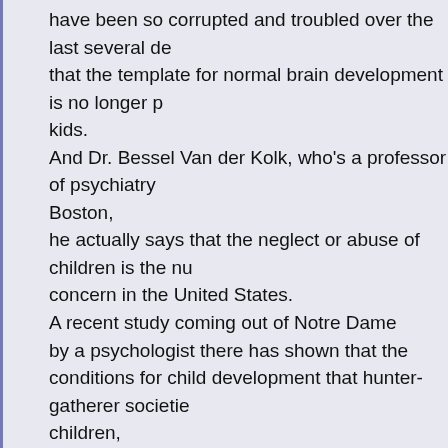have been so corrupted and troubled over the last several de that the template for normal brain development is no longer p kids. And Dr. Bessel Van der Kolk, who's a professor of psychiatry Boston, he actually says that the neglect or abuse of children is the nu concern in the United States. A recent study coming out of Notre Dame by a psychologist there has shown that the conditions for child development that hunter-gatherer societie children, which are the optimal conditions for development, are no long And she says, actually, that the way we raise our children tod increasingly depriving them of the practices that lead to well-being in a moral sense. So what's really going on here now is that the developmental conditions for healthy childhood psycholog development are less and less available, so that the issue of ADD is only a small part of the general iss that children are no longer having the support for the way the Achieving in the United States right...